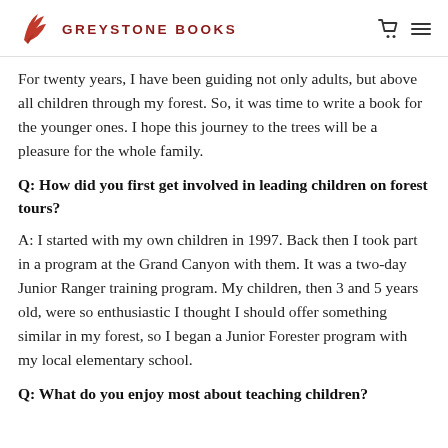GREYSTONE BOOKS
For twenty years, I have been guiding not only adults, but above all children through my forest. So, it was time to write a book for the younger ones. I hope this journey to the trees will be a pleasure for the whole family.
Q: How did you first get involved in leading children on forest tours?
A: I started with my own children in 1997. Back then I took part in a program at the Grand Canyon with them. It was a two-day Junior Ranger training program. My children, then 3 and 5 years old, were so enthusiastic I thought I should offer something similar in my forest, so I began a Junior Forester program with my local elementary school.
Q: What do you enjoy most about teaching children?